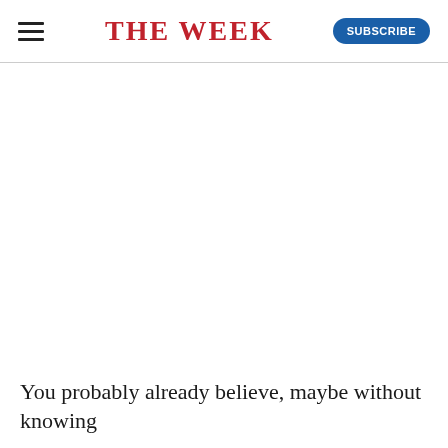THE WEEK
You probably already believe, maybe without knowing